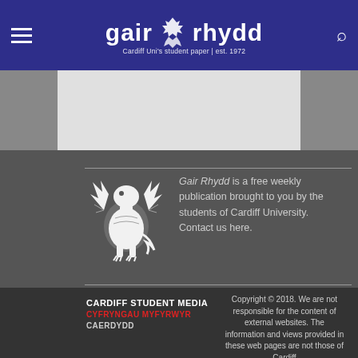gair rhydd — Cardiff Uni's student paper | est. 1972
[Figure (logo): Gair Rhydd griffin logo and site title in white on dark blue navigation bar]
[Figure (illustration): White griffin/dragon logo illustration on dark grey background]
Gair Rhydd is a free weekly publication brought to you by the students of Cardiff University. Contact us here.
[Figure (logo): Cardiff Student Media / Cyfryngau Myfyrwyr Caerdydd logo in white and red]
Copyright © 2018. We are not responsible for the content of external websites. The information and views provided in these web pages are not those of Cardiff